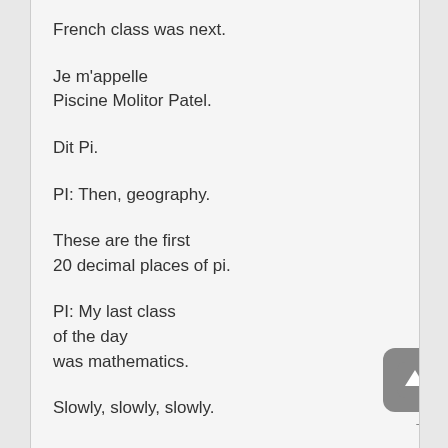French class was next.
Je m'appelle
Piscine Molitor Patel.
Dit Pi.
PI: Then, geography.
These are the first
20 decimal places of pi.
PI: My last class
of the day
was mathematics.
Slowly, slowly, slowly.
STUDENTS: Three.
Seven. Five. Eight. Nine.
Eight. Five. Eight. Nine.